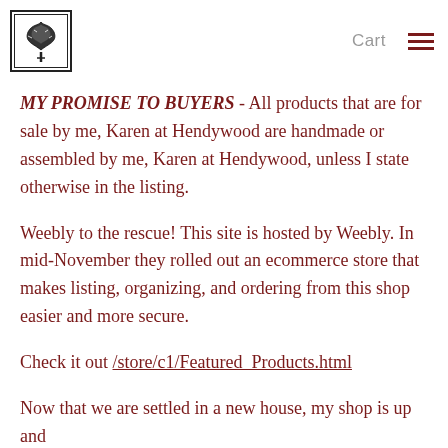Cart  ☰
[Figure (logo): Tree illustration logo in black and white, square with border]
MY PROMISE TO BUYERS - All products that are for sale by me, Karen at Hendywood are handmade or assembled by me, Karen at Hendywood, unless I state otherwise in the listing.
Weebly to the rescue! This site is hosted by Weebly. In mid-November they rolled out an ecommerce store that makes listing, organizing, and ordering from this shop easier and more secure.
Check it out /store/c1/Featured_Products.html
Now that we are settled in a new house, my shop is up and